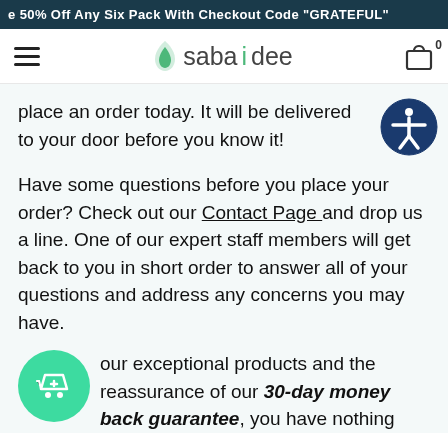e 50% Off Any Six Pack With Checkout Code "GRATEFUL"
sabaidee — navigation bar with hamburger menu and cart
place an order today. It will be delivered to your door before you know it!
Have some questions before you place your order? Check out our Contact Page and drop us a line. One of our expert staff members will get back to you in short order to answer all of your questions and address any concerns you may have.
our exceptional products and the reassurance of our 30-day money back guarantee, you have nothing